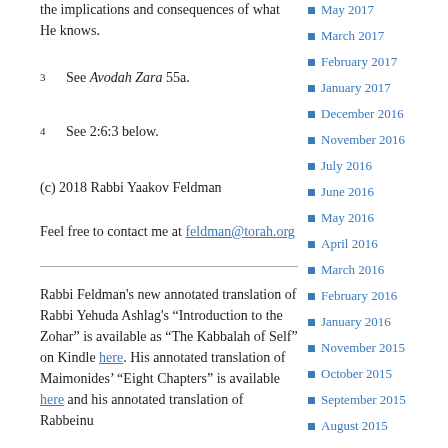the implications and consequences of what He knows.
3   See Avodah Zara 55a.
4   See 2:6:3 below.
(c) 2018 Rabbi Yaakov Feldman
Feel free to contact me at feldman@torah.org
Rabbi Feldman's new annotated translation of Rabbi Yehuda Ashlag's “Introduction to the Zohar” is available as “The Kabbalah of Self” on Kindle here. His annotated translation of Maimonides’ “Eight Chapters” is available here and his annotated translation of Rabbeinu
May 2017
March 2017
February 2017
January 2017
December 2016
November 2016
July 2016
June 2016
May 2016
April 2016
March 2016
February 2016
January 2016
November 2015
October 2015
September 2015
August 2015
July 2015